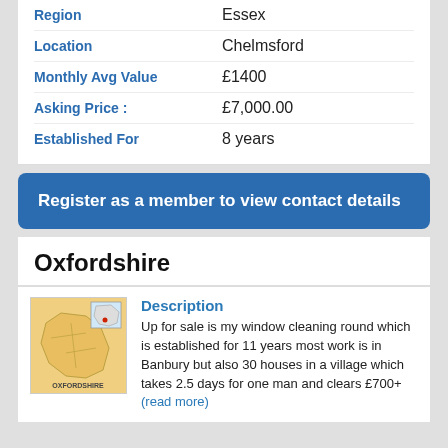| Field | Value |
| --- | --- |
| Region | Essex |
| Location | Chelmsford |
| Monthly Avg Value | £1400 |
| Asking Price : | £7,000.00 |
| Established For | 8 years |
Register as a member to view contact details
Oxfordshire
[Figure (map): Map of Oxfordshire region in England]
Description
Up for sale is my window cleaning round which is established for 11 years most work is in Banbury but also 30 houses in a village which takes 2.5 days for one man and clears £700+(read more)